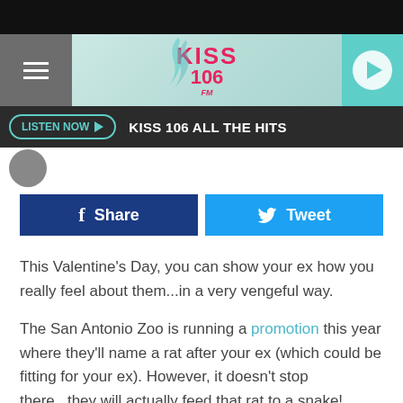[Figure (screenshot): KISS 106 radio station website header with hamburger menu, KISS 106 logo on teal gradient background, and teal play button circle on right]
[Figure (screenshot): Dark bar with 'LISTEN NOW' button in teal outline and text 'KISS 106 ALL THE HITS' in white]
[Figure (screenshot): Social sharing buttons: blue Facebook Share button and cyan Twitter Tweet button]
This Valentine's Day, you can show your ex how you really feel about them...in a very vengeful way.
The San Antonio Zoo is running a promotion this year where they'll name a rat after your ex (which could be fitting for your ex). However, it doesn't stop there...they will actually feed that rat to a snake!
That's, creepy, yet satisfying for some out there. It will cost